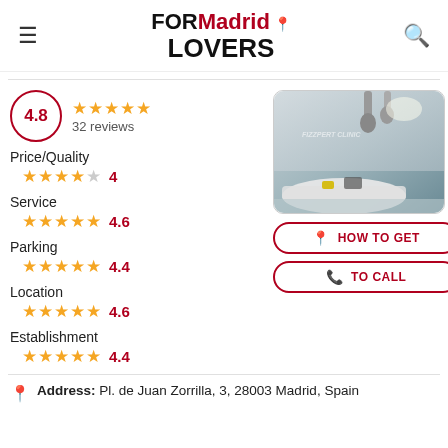FORMadrid LOVERS
4.8 · 32 reviews
Price/Quality 4
Service 4.6
Parking 4.4
Location 4.6
Establishment 4.4
[Figure (photo): Interior photo of a clinic reception area with modern white curved desk, pendant lights, and a wall logo reading Fizzpert Clinic]
HOW TO GET
TO CALL
Address: Pl. de Juan Zorrilla, 3, 28003 Madrid, Spain